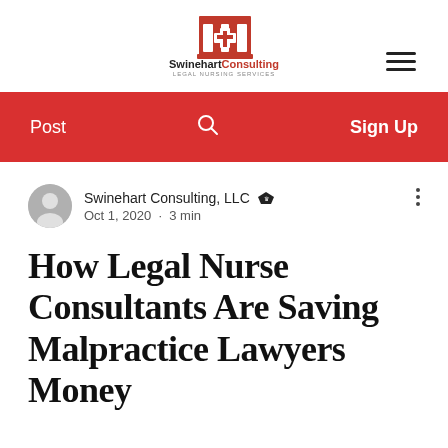[Figure (logo): Swinehart Consulting Legal Nursing Services logo — red building icon with cross, company name below]
Post   🔍   Sign Up
Swinehart Consulting, LLC 👑  Oct 1, 2020  •  3 min
How Legal Nurse Consultants Are Saving Malpractice Lawyers Money